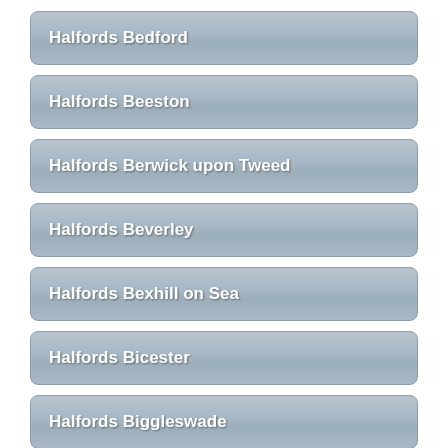Halfords Bedford
Halfords Beeston
Halfords Berwick upon Tweed
Halfords Beverley
Halfords Bexhill on Sea
Halfords Bicester
Halfords Biggleswade
Halfords ...